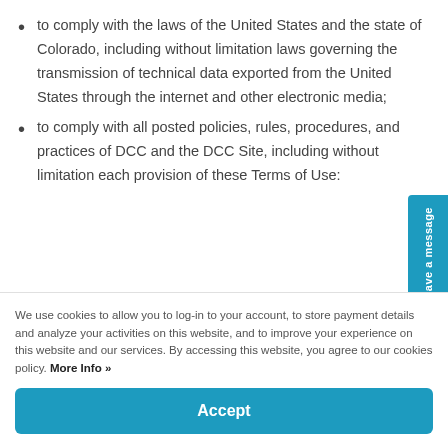to comply with the laws of the United States and the state of Colorado, including without limitation laws governing the transmission of technical data exported from the United States through the internet and other electronic media;
to comply with all posted policies, rules, procedures, and practices of DCC and the DCC Site, including without limitation each provision of these Terms of Use:
We use cookies to allow you to log-in to your account, to store payment details and analyze your activities on this website, and to improve your experience on this website and our services. By accessing this website, you agree to our cookies policy. More Info »
Accept